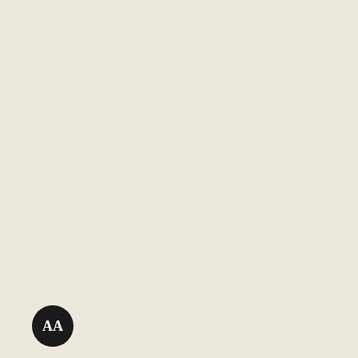| Description | Name | Code | Grade | Num |
| --- | --- | --- | --- | --- |
| 1953 ND Issue P41 | & Green Back |  | ★ Star |  |
| 50 Dong 1953 ND Issue P42 | ND (1953) 50 Dông | VNM42 | Base | 6 |
| 50 Dong 1953 ND Issue P42 | ND (1953) 50 Dông | VNM42 | ★ Star |  |
| 1 Dong 1946-50 Issue P43 |  |  | Base | 6 |
| 1 Dong 1946-50 Issue P43 |  |  | ★ Star |  |
| 1 Dong 1946-50 Issue P43 |  |  | Base | 6 |
| 1 Dong 1946-50 Issue P43 |  |  | ★ Star |  |
| 1 Dong 1946-50 Issue P43 |  |  | Base | 9 |
| 1 Dong 1946-50 Issue P43 |  |  | ★ Star |  |
| 1 Dong 1946-50 Issue P44 | ND (1946-50) 1 Dông | VNM44 | Base | 6 |
| 1 Dong 1946-50 Issue P44 | ND (1946-50) 1 Dông | VNM44 | ★ Star |  |
| 1 Dong 1946-50 Issue P45 | ND (1946) 1 Dông | VNM45 | Base | 6 |
| 1 Dong 1946-50 Issue P45 | ND (1946) 1 Dông | VNM45 | ★ Star |  |